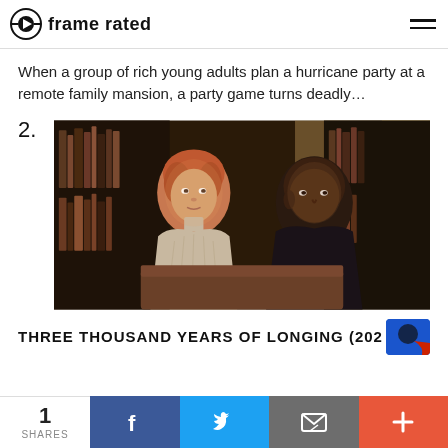frame rated
When a group of rich young adults plan a hurricane party at a remote family mansion, a party game turns deadly…
2.
[Figure (photo): Two people sitting together in a dimly lit room with bookshelves in background — a woman with reddish hair in a light cardigan and a bald man in a dark shirt, film still from Three Thousand Years of Longing (2022)]
THREE THOUSAND YEARS OF LONGING (202
1 SHARES | Facebook | Twitter | Email | +